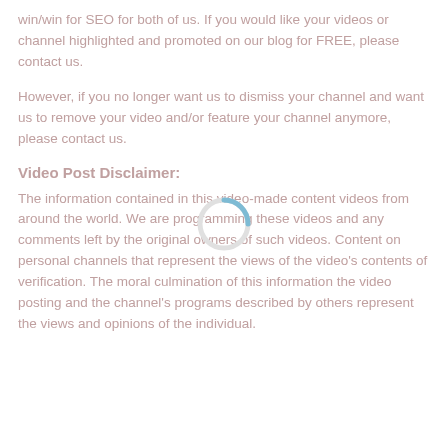win/win for SEO for both of us. If you would like your videos or channel highlighted and promoted on our blog for FREE, please contact us.
However, if you no longer want us to dismiss your channel and want us to remove your video and/or feature your channel anymore, please contact us.
Video Post Disclaimer:
The information contained in this video-made content videos from around the world. We are programming these videos and any comments left by the original owners of such videos. Content on personal channels that represent the views of the video's contents of verification. The moral culmination of this information the video posting and the channel's programs described by others represent the views and opinions of the individual.
[Figure (other): Loading spinner / circular progress indicator overlay in the center of the page]